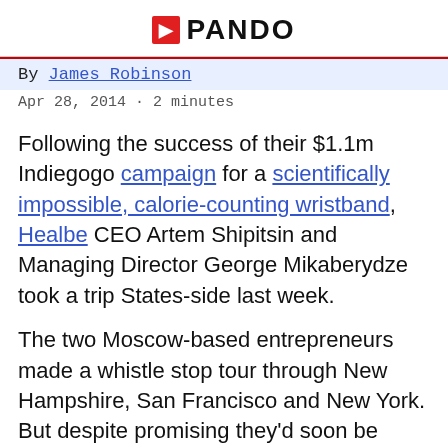PANDO
By James Robinson
Apr 28, 2014 · 2 minutes
Following the success of their $1.1m Indiegogo campaign for a scientifically impossible, calorie-counting wristband, Healbe CEO Artem Shipitsin and Managing Director George Mikaberydze took a trip States-side last week.
The two Moscow-based entrepreneurs made a whistle stop tour through New Hampshire, San Francisco and New York. But despite promising they'd soon be sharing their miracle